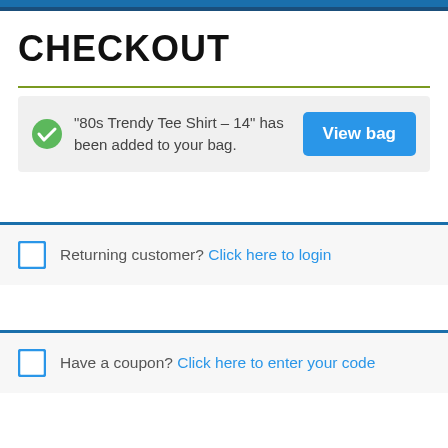CHECKOUT
“80s Trendy Tee Shirt – 14” has been added to your bag.
Returning customer? Click here to login
Have a coupon? Click here to enter your code